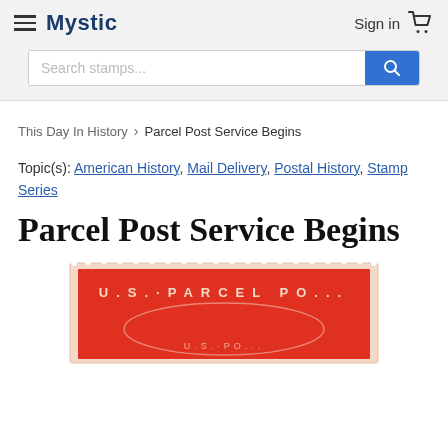Mystic | Sign in
Search stamps...
This Day In History › Parcel Post Service Begins
Topic(s): American History, Mail Delivery, Postal History, Stamp Series
Parcel Post Service Begins
[Figure (photo): A partial view of a red U.S. Parcel Post stamp showing perforated edges and the text 'PARCEL PO...' in red]